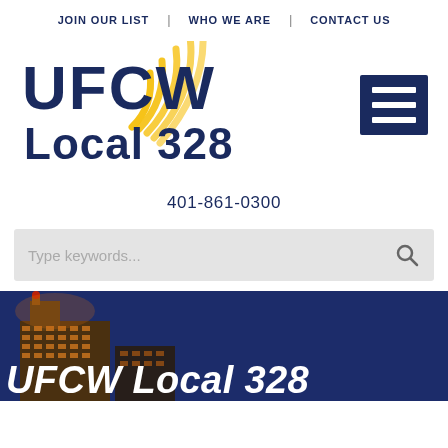JOIN OUR LIST | WHO WE ARE | CONTACT US
[Figure (logo): UFCW Local 328 logo with gold radio waves graphic]
[Figure (other): Hamburger menu icon (three horizontal white lines on dark blue background)]
401-861-0300
[Figure (screenshot): Search bar with placeholder text 'Type keywords...' and a search icon on the right]
[Figure (photo): Night photo of a city building illuminated in gold/orange against a dark blue sky, with partial white text 'UFCW Local 328' overlaid at the bottom]